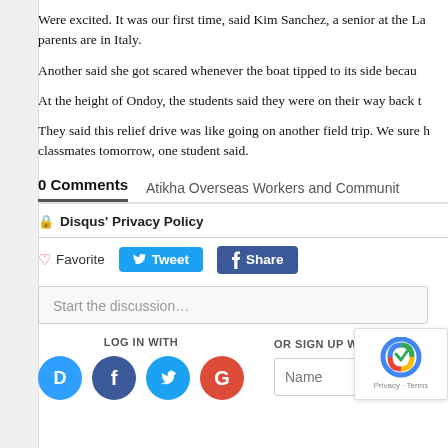Were excited. It was our first time, said Kim Sanchez, a senior at the La... parents are in Italy.
Another said she got scared whenever the boat tipped to its side becau...
At the height of Ondoy, the students said they were on their way back t...
They said this relief drive was like going on another field trip. We sure h... classmates tomorrow, one student said.
0 Comments    Atikha Overseas Workers and Communit...
🔒 Disqus' Privacy Policy
♡ Favorite   Tweet   Share
Start the discussion…
LOG IN WITH
OR SIGN UP WITH DISQUS
Name
Privacy · Terms